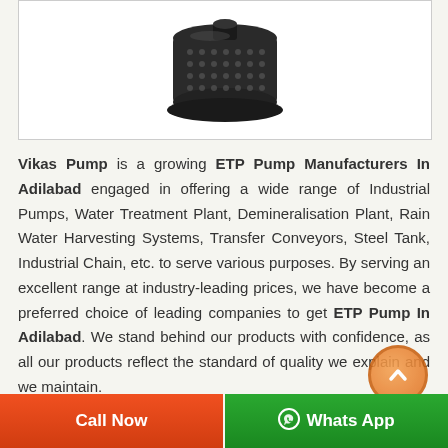[Figure (photo): Product photo of an ETP submersible pump with perforated cylindrical body on white background]
Vikas Pump is a growing ETP Pump Manufacturers In Adilabad engaged in offering a wide range of Industrial Pumps, Water Treatment Plant, Demineralisation Plant, Rain Water Harvesting Systems, Transfer Conveyors, Steel Tank, Industrial Chain, etc. to serve various purposes. By serving an excellent range at industry-leading prices, we have become a preferred choice of leading companies to get ETP Pump In Adilabad. We stand behind our products with confidence, as all our products reflect the standard of quality we explain and we maintain.
Call Now
Whats App